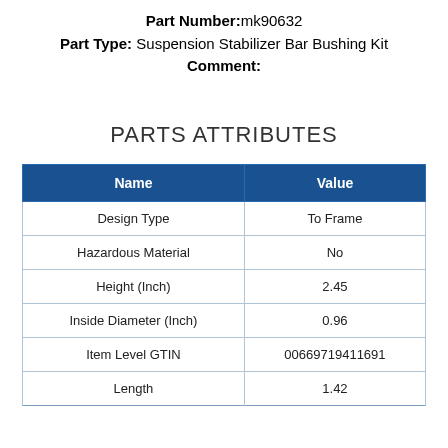Part Number: mk90632
Part Type: Suspension Stabilizer Bar Bushing Kit
Comment:
PARTS ATTRIBUTES
| Name | Value |
| --- | --- |
| Design Type | To Frame |
| Hazardous Material | No |
| Height (Inch) | 2.45 |
| Inside Diameter (Inch) | 0.96 |
| Item Level GTIN | 00669719411691 |
| Length | 1.42 |